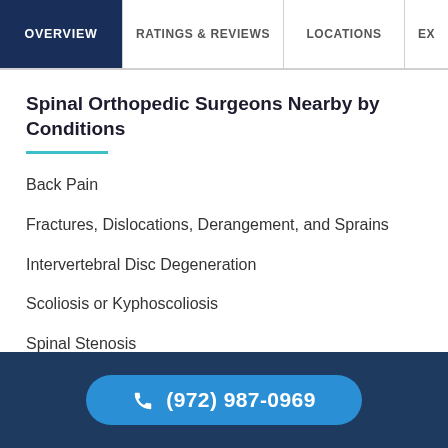OVERVIEW | RATINGS & REVIEWS | LOCATIONS | EX
Spinal Orthopedic Surgeons Nearby by Conditions
Back Pain
Fractures, Dislocations, Derangement, and Sprains
Intervertebral Disc Degeneration
Scoliosis or Kyphoscoliosis
Spinal Stenosis
(972) 987-0969